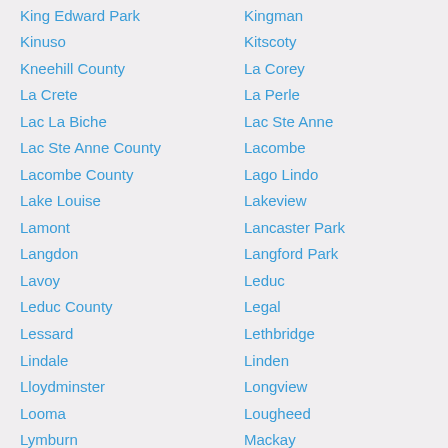King Edward Park
Kingman
Kinuso
Kitscoty
Kneehill County
La Corey
La Crete
La Perle
Lac La Biche
Lac Ste Anne
Lac Ste Anne County
Lacombe
Lacombe County
Lago Lindo
Lake Louise
Lakeview
Lamont
Lancaster Park
Langdon
Langford Park
Lavoy
Leduc
Leduc County
Legal
Lessard
Lethbridge
Lindale
Linden
Lloydminster
Longview
Looma
Lougheed
Lymburn
Mackay
Mackenzie Pointe
Magrath
Man
Manning
Mannville
Marlboro
Martindale
Marwayne
Mayerthorpe
McKenzie Towne
McLennan
McMurray